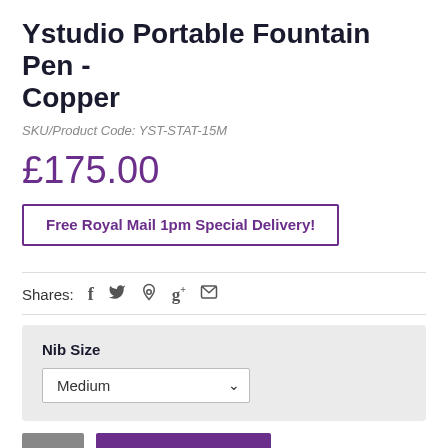Ystudio Portable Fountain Pen - Copper
SKU/Product Code: YST-STAT-15M
£175.00
Free Royal Mail 1pm Special Delivery!
Shares: f  twitter  pinterest  g+  email
Nib Size
Medium
1  BUY NOW